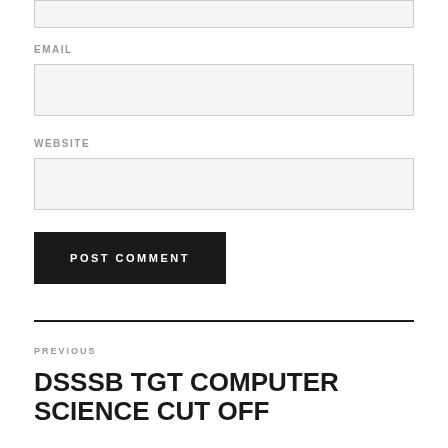(input box top - partial)
EMAIL
(email input field)
WEBSITE
(website input field)
POST COMMENT
PREVIOUS
DSSSB TGT COMPUTER SCIENCE CUT OFF